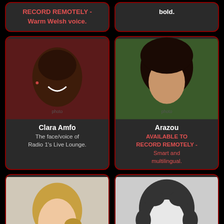RECORD REMOTELY - Warm Welsh voice.
bold.
[Figure (photo): Headshot of Clara Amfo, a Black woman with short hair, smiling, against a dark red background]
Clara Amfo
The face/voice of Radio 1's Live Lounge.
[Figure (photo): Headshot of Arazou, a South Asian woman with long dark hair, against a green blurred background]
Arazou
AVAILABLE TO RECORD REMOTELY - Smart and multilingual.
[Figure (photo): Headshot of a blonde woman smiling, against a light background]
[Figure (photo): Black and white headshot of a woman with curly hair]